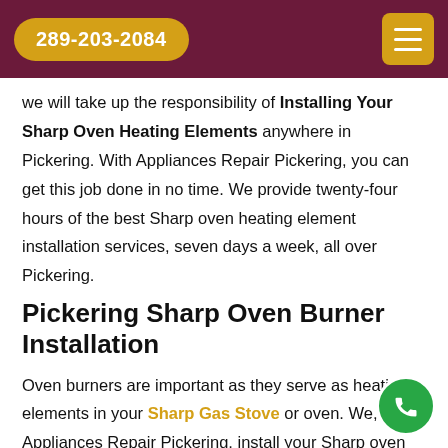289-203-2084
we will take up the responsibility of Installing Your Sharp Oven Heating Elements anywhere in Pickering. With Appliances Repair Pickering, you can get this job done in no time. We provide twenty-four hours of the best Sharp oven heating element installation services, seven days a week, all over Pickering.
Pickering Sharp Oven Burner Installation
Oven burners are important as they serve as heating elements in your Sharp Gas Stove or oven. We, at Appliances Repair Pickering, install your Sharp oven burners for your ovens. Our team is